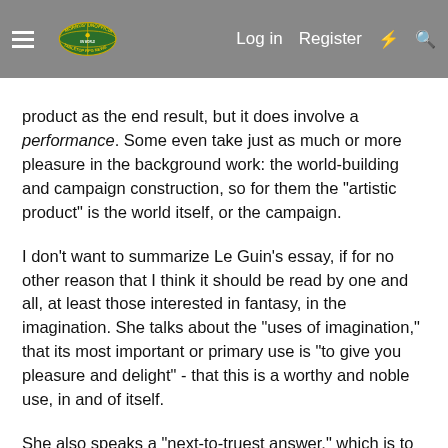Morrus' Unofficial Tabletop RPG News — Log in | Register
product as the end result, but it does involve a performance. Some even take just as much or more pleasure in the background work: the world-building and campaign construction, so for them the "artistic product" is the world itself, or the campaign.
I don't want to summarize Le Guin's essay, if for no other reason that I think it should be read by one and all, at least those interested in fantasy, in the imagination. She talks about the "uses of imagination," that its most important or primary use is "to give you pleasure and delight" - that this is a worthy and noble use, in and of itself.
She also speaks a "next-to-truest answer," which is to deepen one's understanding of the world and people. We could also add in something Tolkien's fellow Inkling, Owen Barfield, said, that imagination is what allows us to feel